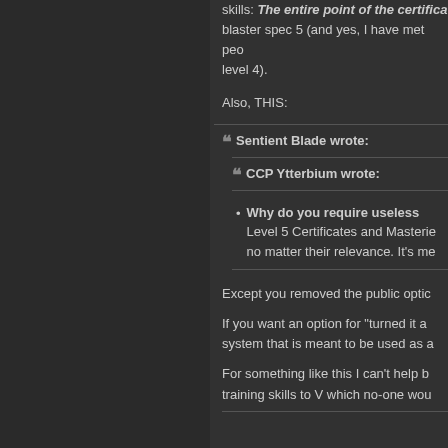skills: The entire point of the certifica blaster spec 5 (and yes, I have met peo level 4).
Also, THIS:
Sentient Blade wrote:
CCP Ytterbium wrote:
Why do you require useless Level 5 Certificates and Masterie no matter their relevance. It's me
Except you removed the public optic
If you want an option for "turned it a system that is meant to be used as a
For something like this I can't help b training skills to V which no-one wou